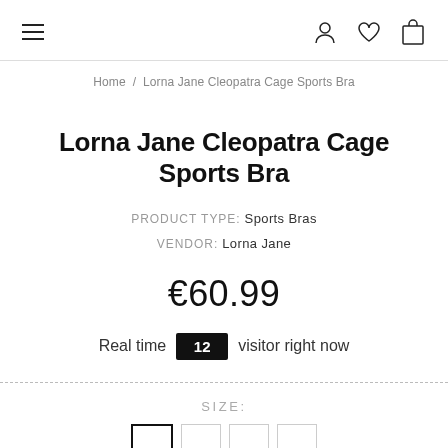≡  [user icon] [heart icon] [bag icon]
Home / Lorna Jane Cleopatra Cage Sports Bra
Lorna Jane Cleopatra Cage Sports Bra
PRODUCT TYPE: Sports Bras
VENDOR: Lorna Jane
€60.99
Real time 12 visitor right now
SIZE: